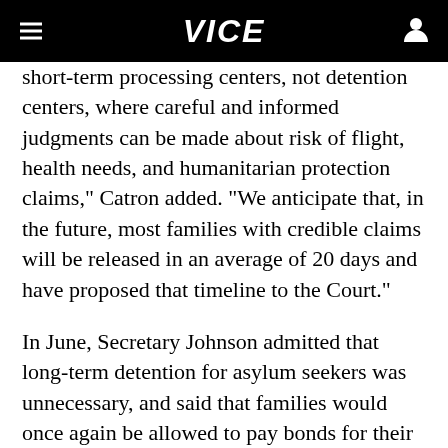VICE
short-term processing centers, not detention centers, where careful and informed judgments can be made about risk of flight, health needs, and humanitarian protection claims," Catron added. "We anticipate that, in the future, most families with credible claims will be released in an average of 20 days and have proposed that timeline to the Court."
In June, Secretary Johnson admitted that long-term detention for asylum seekers was unnecessary, and said that families would once again be allowed to pay bonds for their release after passing the department's "credible fear"